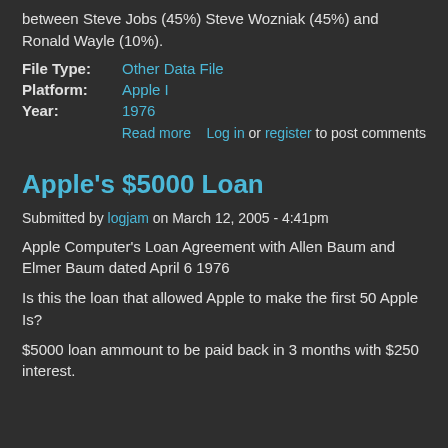between Steve Jobs (45%) Steve Wozniak (45%) and Ronald Wayle (10%).
File Type:   Other Data File
Platform:   Apple I
Year:   1976
Read more   Log in or register to post comments
Apple's $5000 Loan
Submitted by logjam on March 12, 2005 - 4:41pm
Apple Computer's Loan Agreement with Allen Baum and Elmer Baum dated April 6 1976
Is this the loan that allowed Apple to make the first 50 Apple Is?
$5000 loan ammount to be paid back in 3 months with $250 interest.